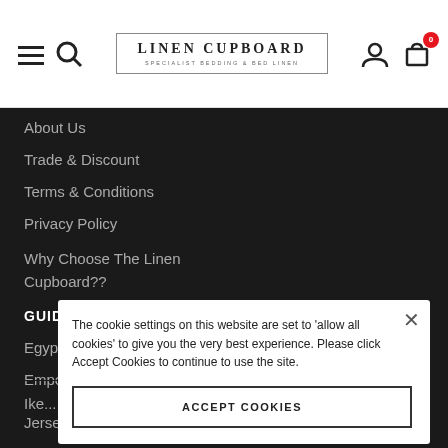Linen Cupboard — SPECIALIST BEDDING & BED LINEN
About Us
Trade & Discount
Terms & Conditions
Privacy Policy
Why Choose The Linen Cupboard??
GUIDES
Egyptian Cotton Bed Linen
Emperor Bed Linen Guide?
Ike...
Jersey Cotton Bedding G...
Extra Deep Fitted Sheet Guide?
Mattress Protector A...
Mattress Topper Guide?
The cookie settings on this website are set to 'allow all cookies' to give you the very best experience. Please click Accept Cookies to continue to use the site.
ACCEPT COOKIES